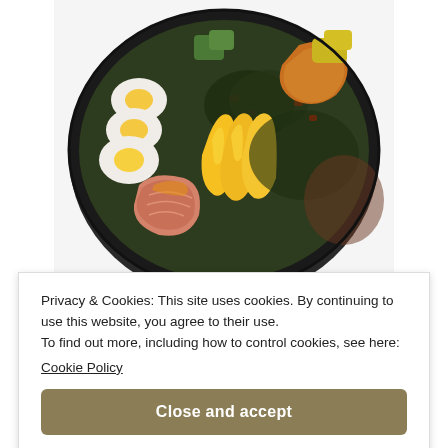[Figure (photo): A dark bowl filled with various foods including hard-boiled egg halves, mango slices, salmon fillet, dark leafy greens with red pepper pieces, and caramelized/glazed items. The bowl is photographed from above on a white background.]
Privacy & Cookies: This site uses cookies. By continuing to use this website, you agree to their use.
To find out more, including how to control cookies, see here:
Cookie Policy
Close and accept
[Figure (photo): Partial view of another food dish at the bottom of the page, appears to show red/mixed ingredients.]